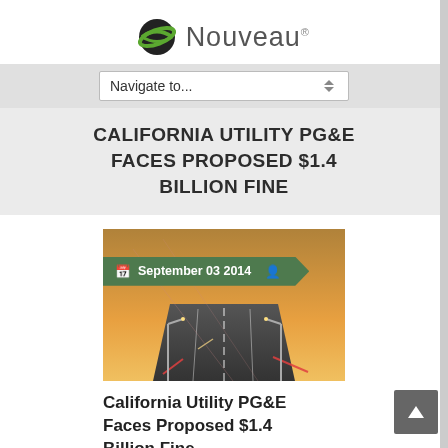[Figure (logo): Nouveau logo with green globe icon and grey text]
Navigate to...
CALIFORNIA UTILITY PG&E FACES PROPOSED $1.4 BILLION FINE
[Figure (photo): Highway at sunset/dusk with light trails, with a date ribbon overlay reading September 03 2014]
California Utility PG&E Faces Proposed $1.4 Billion Fine